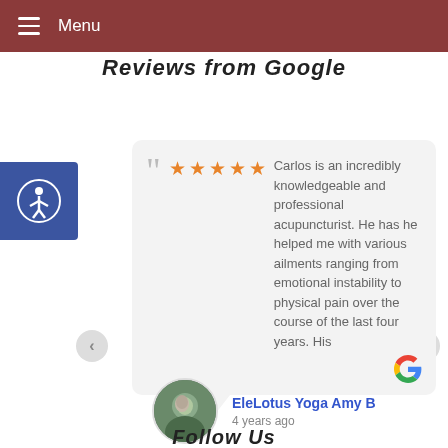Menu
Reviews from Google
Carlos is an incredibly knowledgeable and professional acupuncturist. He has he helped me with various ailments ranging from emotional instability to physical pain over the course of the last four years. His
EleLotus Yoga Amy B
4 years ago